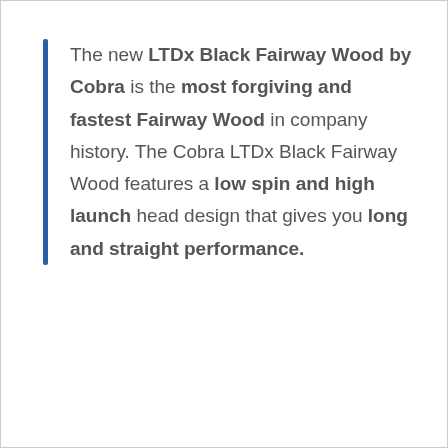The new LTDx Black Fairway Wood by Cobra is the most forgiving and fastest Fairway Wood in company history. The Cobra LTDx Black Fairway Wood features a low spin and high launch head design that gives you long and straight performance.